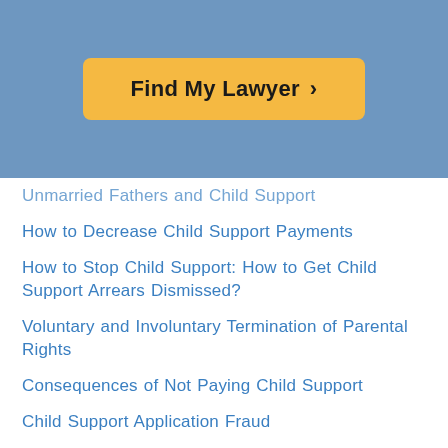[Figure (other): Yellow 'Find My Lawyer >' button on a blue banner background]
Unmarried Fathers and Child Support
How to Decrease Child Support Payments
How to Stop Child Support: How to Get Child Support Arrears Dismissed?
Voluntary and Involuntary Termination of Parental Rights
Consequences of Not Paying Child Support
Child Support Application Fraud
Child Support College Payments
Child Support Enforcement Outside The United States
Child Support Lawsuit by an Adult Child
Lowering Child Support for Changed Financial Circumstances